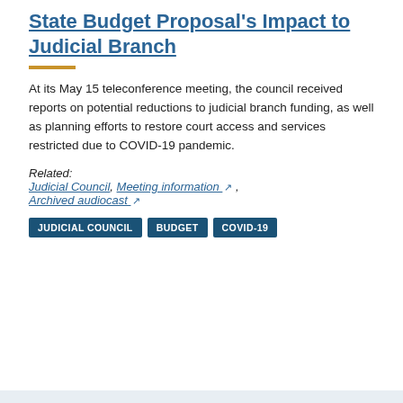State Budget Proposal's Impact to Judicial Branch
At its May 15 teleconference meeting, the council received reports on potential reductions to judicial branch funding, as well as planning efforts to restore court access and services restricted due to COVID-19 pandemic.
Related: Judicial Council, Meeting information, Archived audiocast
JUDICIAL COUNCIL
BUDGET
COVID-19